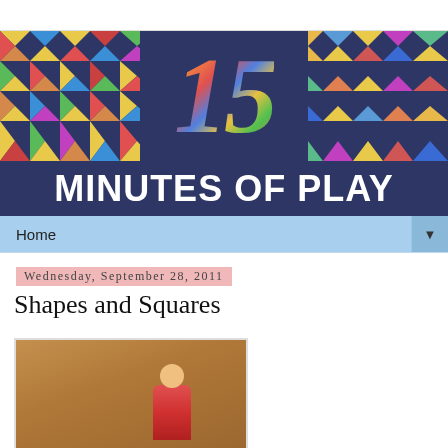[Figure (illustration): 15 Minutes of Play blog banner with colorful patchwork quilt imagery on left and right, dark navy center with large stylized '15' number made of colorful fabric patterns, and bold white 'MINUTES OF PLAY' text on dark navy background below]
Home ▼
Wednesday, September 28, 2011
Shapes and Squares
[Figure (photo): Photo of a child playing on a warm wooden floor with colorful toys/blocks]